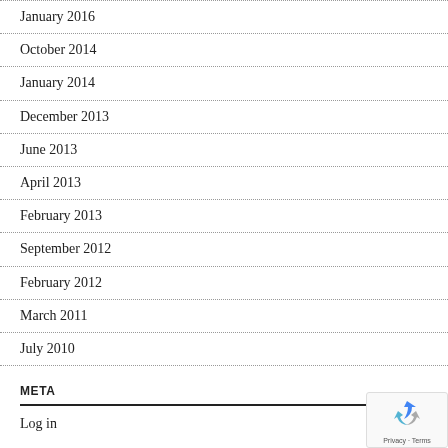January 2016
October 2014
January 2014
December 2013
June 2013
April 2013
February 2013
September 2012
February 2012
March 2011
July 2010
META
Log in
[Figure (logo): Google reCAPTCHA badge with blue/grey recycling arrows icon and 'Privacy · Terms' text]